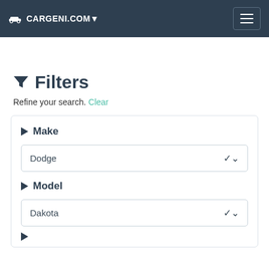CARGENI.COM
Filters
Refine your search. Clear
Make
Dodge
Model
Dakota